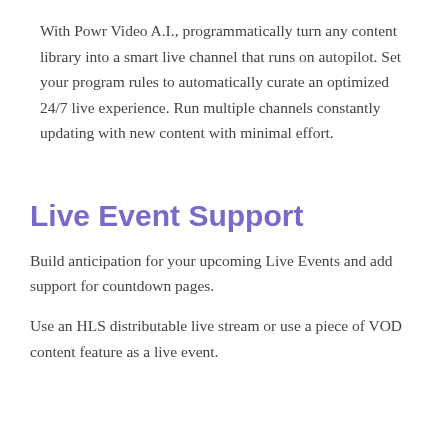With Powr Video A.I., programmatically turn any content library into a smart live channel that runs on autopilot. Set your program rules to automatically curate an optimized 24/7 live experience. Run multiple channels constantly updating with new content with minimal effort.
Live Event Support
Build anticipation for your upcoming Live Events and add support for countdown pages.
Use an HLS distributable live stream or use a piece of VOD content feature as a live event.